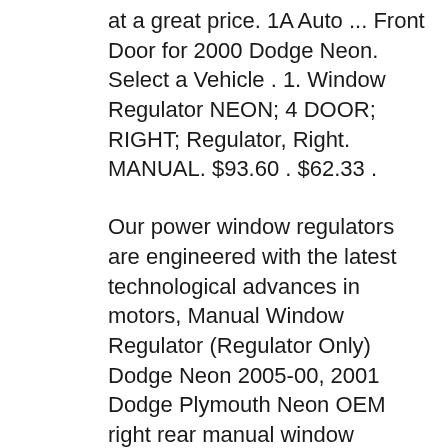at a great price. 1A Auto ... Front Door for 2000 Dodge Neon. Select a Vehicle . 1. Window Regulator NEON; 4 DOOR; RIGHT; Regulator, Right. MANUAL. $93.60 . $62.33 .
Our power window regulators are engineered with the latest technological advances in motors, Manual Window Regulator (Regulator Only) Dodge Neon 2005-00, 2001 Dodge Plymouth Neon OEM right rear manual window regulator 5008036AF 2000-2005 DODGE NEON PLYMOUTH OEM FRONT LEFT WINDOW REGULATOR W/ MOTOR 2001-2003
Car Electrical Wiring Dodge Dakota